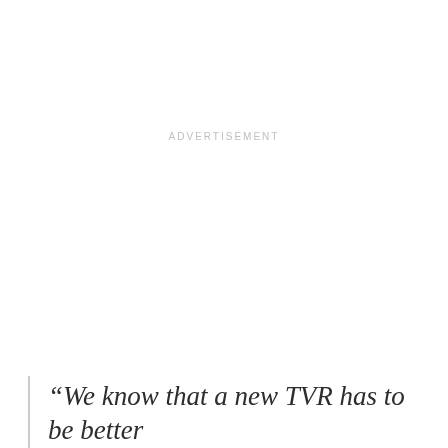ADVERTISEMENT
“We know that a new TVR has to be better